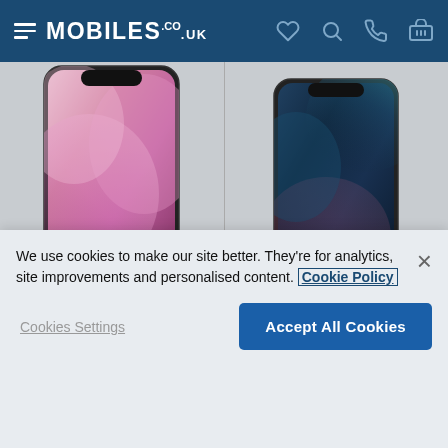MOBILES.CO.UK
[Figure (photo): iPhone 13 product image showing front face with pink/purple gradient wallpaper on a grey background]
[Figure (photo): iPhone 13 Mini product image showing front face with dark blue/teal galaxy-style wallpaper on a grey background]
iPhone 13
iPhone 13 Mini
6.1-inch Super Retina display
5.4-inch Super Retina display
We use cookies to make our site better. They're for analytics, site improvements and personalised content. Cookie Policy
Cookies Settings
Accept All Cookies